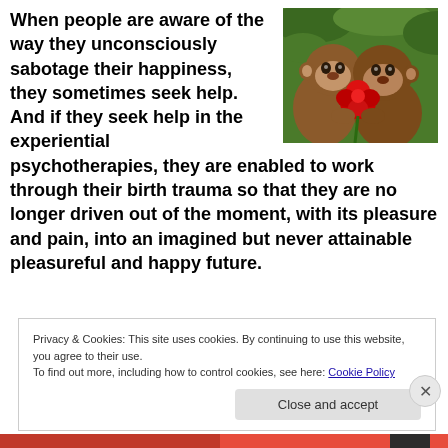When people are aware of the way they unconsciously sabotage their happiness, they sometimes seek help. And if they seek help in the experiential psychotherapies, they are enabled to work through their birth trauma so that they are no longer driven out of the moment, with its pleasure and pain, into an imagined but never attainable pleasureful and happy future.
[Figure (photo): Two young orangutans with their heads together, one holding a red flower]
Privacy & Cookies: This site uses cookies. By continuing to use this website, you agree to their use. To find out more, including how to control cookies, see here: Cookie Policy